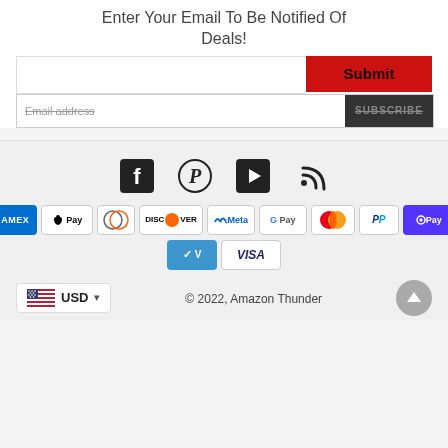Enter Your Email To Be Notified Of Deals!
[Figure (screenshot): Email subscription form with text input and red Submit button, plus a second form row showing Email address placeholder and dark SUBSCRIBE button]
[Figure (infographic): Social media icons: Facebook, Pinterest, YouTube/Play, RSS feed]
[Figure (infographic): Payment method badges: Amex, Apple Pay, Diners Club, Discover, Meta Pay, Google Pay, Mastercard, PayPal, Shop Pay, Venmo, Visa]
© 2022, Amazon Thunder
USD